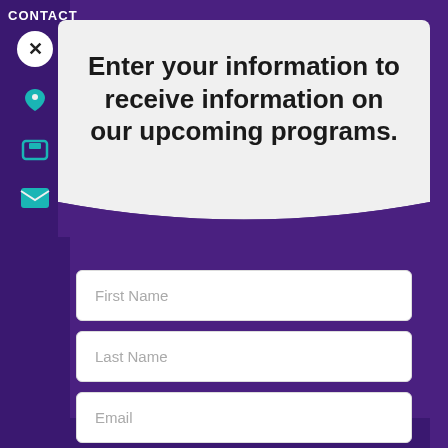CONTACT
Enter your information to receive information on our upcoming programs.
First Name
Last Name
Email
Enter